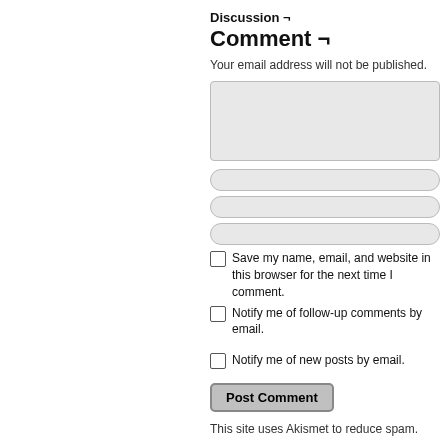Discussion ¬
Comment ¬
Your email address will not be published.
[Figure (screenshot): Comment text area input box, large, grey background with rounded corners]
[Figure (screenshot): Text input field, grey with rounded pill shape]
[Figure (screenshot): Text input field, grey with rounded pill shape]
[Figure (screenshot): Text input field, grey with rounded pill shape]
Save my name, email, and website in this browser for the next time I comment.
Notify me of follow-up comments by email.
Notify me of new posts by email.
Post Comment
This site uses Akismet to reduce spam.